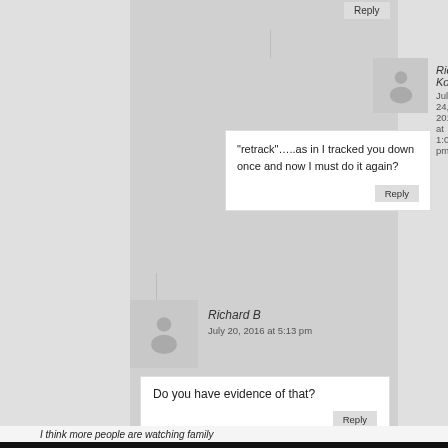Rick Kooi
July 24, 2016 at 1:06 pm
“retrack”…..as in I tracked you down once and now I must do it again?
Richard B
July 20, 2016 at 5:13 pm
Do you have evidence of that?
boo
July 20, 2016 at 9:21 am
I think more people are watching family